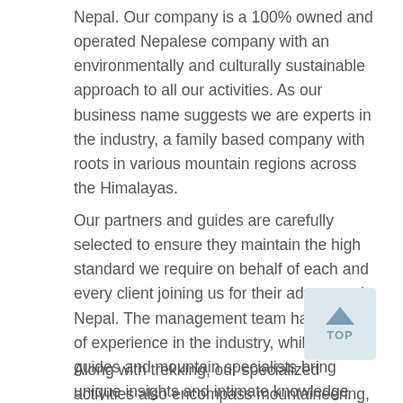Nepal. Our company is a 100% owned and operated Nepalese company with an environmentally and culturally sustainable approach to all our activities. As our business name suggests we are experts in the industry, a family based company with roots in various mountain regions across the Himalayas.
Our partners and guides are carefully selected to ensure they maintain the high standard we require on behalf of each and every client joining us for their adventure in Nepal. The management team has years of experience in the industry, while our guides and mountain specialists bring unique insights and intimate knowledge accrued through many years of working in the trekking industry, as well as the easy familiarity that comes from growing up along many of the more popular routes.
Along with trekking, our specialized activities also encompass mountaineering, wilderness expeditions,